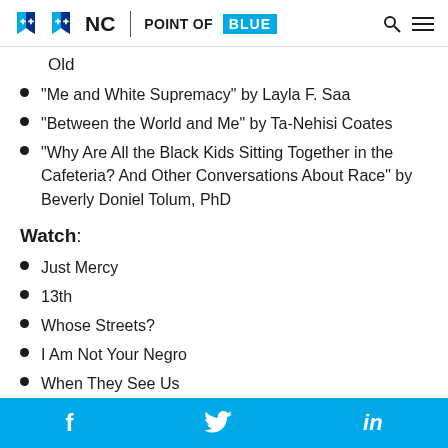NC | POINT OF BLUE
Old
“Me and White Supremacy” by Layla F. Saa
“Between the World and Me” by Ta-Nehisi Coates
“Why Are All the Black Kids Sitting Together in the Cafeteria? And Other Conversations About Race” by Beverly Doniel Tolum, PhD
Watch:
Just Mercy
13th
Whose Streets?
I Am Not Your Negro
When They See Us
f  🐦  in